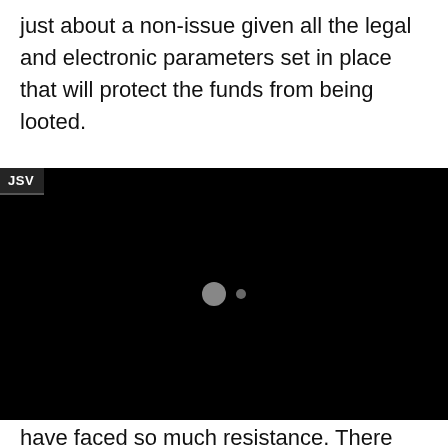just about a non-issue given all the legal and electronic parameters set in place that will protect the funds from being looted.

Now do you guys see why Mailiki wants to file
[Figure (screenshot): A black video player frame with a 'JSV' label overlay in the top-left corner and two small grey dots (a larger and a smaller) centered in the dark frame, indicating a loading or paused video state.]
have faced so much resistance. There are guru